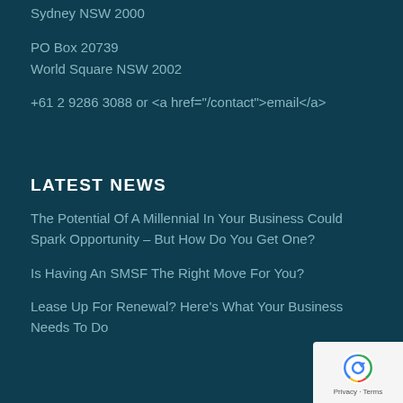Sydney NSW 2000
PO Box 20739
World Square NSW 2002
+61 2 9286 3088 or <a href="/contact">email</a>
LATEST NEWS
The Potential Of A Millennial In Your Business Could Spark Opportunity – But How Do You Get One?
Is Having An SMSF The Right Move For You?
Lease Up For Renewal? Here's What Your Business Needs To Do